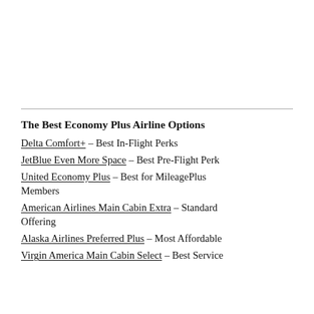The Best Economy Plus Airline Options
Delta Comfort+ – Best In-Flight Perks
JetBlue Even More Space – Best Pre-Flight Perk
United Economy Plus – Best for MileagePlus Members
American Airlines Main Cabin Extra – Standard Offering
Alaska Airlines Preferred Plus – Most Affordable
Virgin America Main Cabin Select – Best Service